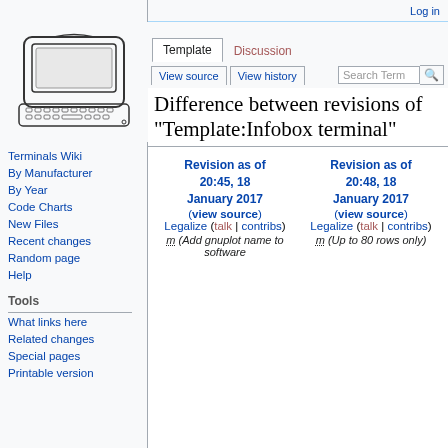Log in
[Figure (illustration): Line drawing of a computer terminal with keyboard, resembling an early CRT terminal]
Terminals Wiki
By Manufacturer
By Year
Code Charts
New Files
Recent changes
Random page
Help
Tools
What links here
Related changes
Special pages
Printable version
Difference between revisions of "Template:Infobox terminal"
| Revision as of 20:45, 18 January 2017 | Revision as of 20:48, 18 January 2017 |
| --- | --- |
| (view source) | (view source) |
| Legalize (talk | contribs) | Legalize (talk | contribs) |
| m (Add gnuplot name to software | m (Up to 80 rows only) |